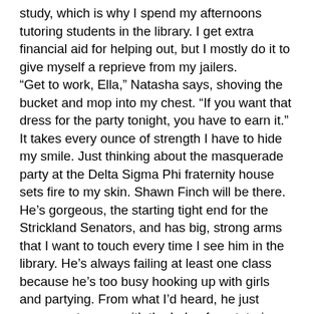study, which is why I spend my afternoons tutoring students in the library. I get extra financial aid for helping out, but I mostly do it to give myself a reprieve from my jailers. “Get to work, Ella,” Natasha says, shoving the bucket and mop into my chest. “If you want that dress for the party tonight, you have to earn it.” It takes every ounce of strength I have to hide my smile. Just thinking about the masquerade party at the Delta Sigma Phi fraternity house sets fire to my skin. Shawn Finch will be there. He’s gorgeous, the starting tight end for the Strickland Senators, and has big, strong arms that I want to touch every time I see him in the library. He’s always failing at least one class because he’s too busy hooking up with girls and partying. From what I’d heard, he just manages to pass with the help of our tutoring staff. I would have killed to be his tutor last semester. Instead, I was stuck with some jerk from the